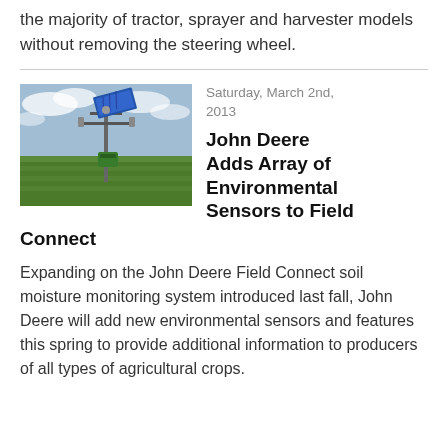the majority of tractor, sprayer and harvester models without removing the steering wheel.
[Figure (photo): Outdoor photo of a John Deere Field Connect weather/sensor station mounted on a pole in a green crop field with a solar panel on top, against a partly cloudy sky.]
Saturday, March 2nd, 2013
John Deere Adds Array of Environmental Sensors to Field Connect
Expanding on the John Deere Field Connect soil moisture monitoring system introduced last fall, John Deere will add new environmental sensors and features this spring to provide additional information to producers of all types of agricultural crops.